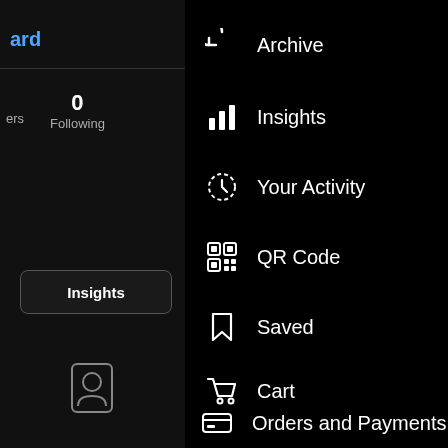[Figure (screenshot): Mobile app UI screenshot showing a dark-themed navigation menu. Left panel shows partial text 'ard' in blue, a following count of 0, partial text 'ers', an Insights button, and a contact card icon. Right panel shows a vertical menu with icons and labels: Archive, Insights, Your Activity, QR Code, Saved, Cart, Orders and Payments.]
Archive
Insights
Your Activity
QR Code
Saved
Cart
Orders and Payments